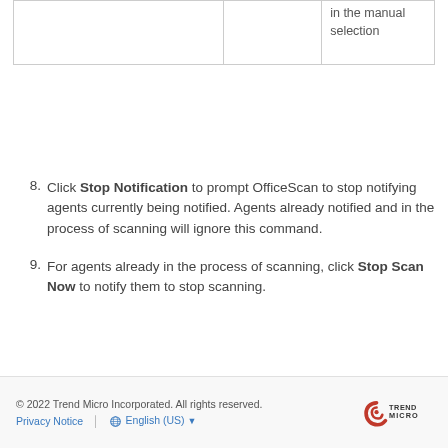|  |  |  |
| --- | --- | --- |
|  |  | in the manual selection |
Click Stop Notification to prompt OfficeScan to stop notifying agents currently being notified. Agents already notified and in the process of scanning will ignore this command.
For agents already in the process of scanning, click Stop Scan Now to notify them to stop scanning.
© 2022 Trend Micro Incorporated. All rights reserved. Privacy Notice   English (US)